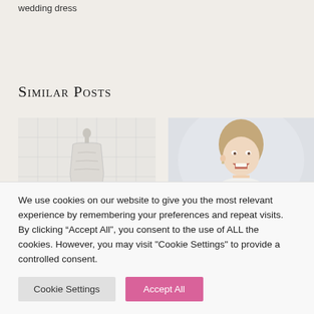wedding dress
Similar Posts
[Figure (photo): White wedding dress on a mannequin torso against a white tile wall background]
[Figure (photo): Laughing blonde woman in a wedding setting, appearing joyful, photographed from the side]
We use cookies on our website to give you the most relevant experience by remembering your preferences and repeat visits. By clicking “Accept All”, you consent to the use of ALL the cookies. However, you may visit "Cookie Settings" to provide a controlled consent.
Cookie Settings
Accept All